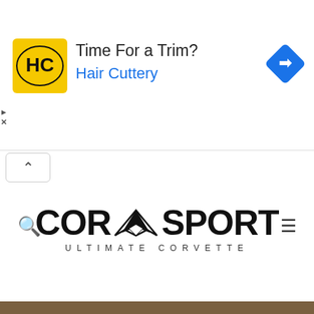[Figure (screenshot): Advertisement banner for Hair Cuttery. Yellow square logo with 'HC' text, bold heading 'Time For a Trim?', blue subheading 'Hair Cuttery', and blue navigation/map diamond icon on right. Small play and X buttons on the left edge.]
[Figure (logo): CorSport website navigation bar with search icon on left, CorVette wing logo and 'CORVSPORT / ULTIMATE CORVETTE' branding in center, hamburger menu icon on right. Collapse button (^) top-left.]
[Figure (photo): Silver C5 Corvette sports car photographed in motion on a road, side profile view, with blurred background. Small X close button at bottom right.]